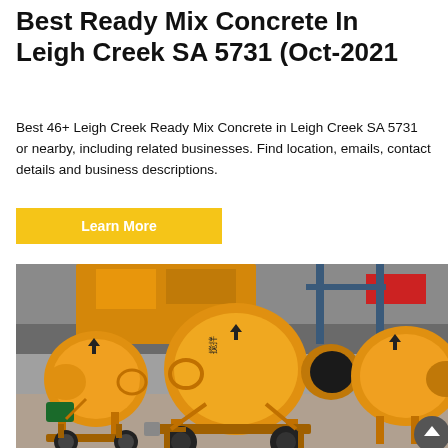Best Ready Mix Concrete In Leigh Creek SA 5731 (Oct-2021
Best 46+ Leigh Creek Ready Mix Concrete in Leigh Creek SA 5731 or nearby, including related businesses. Find location, emails, contact details and business descriptions.
Learn More
[Figure (photo): Yellow concrete mixer machines parked in an industrial yard or factory setting. Multiple drum-style mixer units are visible on wheeled frames with a green motor. A red sign is visible in the background along with industrial structures.]